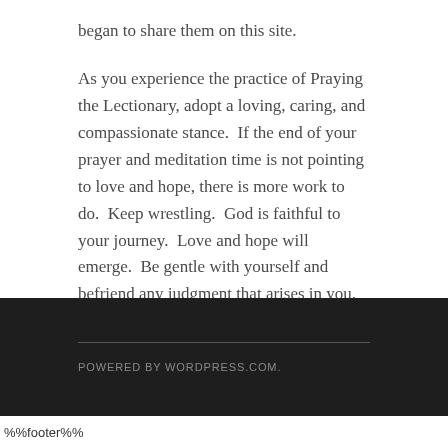began to share them on this site.
As you experience the practice of Praying the Lectionary, adopt a loving, caring, and compassionate stance.  If the end of your prayer and meditation time is not pointing to love and hope, there is more work to do.  Keep wrestling.  God is faithful to your journey.  Love and hope will emerge.  Be gentle with yourself and befriend any judgment that arises in you.
POWERED BY WORDPRESS.COM.
%%footer%%